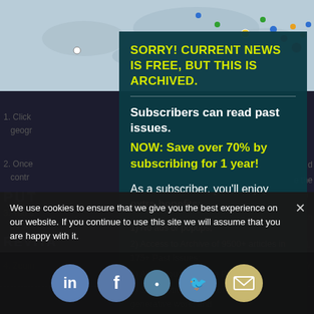[Figure (map): World map background with colored location pins]
1. Click... geogr...
2. Once... e the contr...
3. You c... , such as Jo...
4. Zoom... r city.
PUT HELP
SORRY! CURRENT NEWS IS FREE, BUT THIS IS ARCHIVED.
Subscribers can read past issues.
NOW: Save over 70% by subscribing for 1 year!
As a subscriber, you'll enjoy extra benefits:
1) No ads or popups;
2) Access to Archive of 9500+ articles in 175+ Past Issues;
3) Allow you to use the PDF
4) Satisfaction of supporting our generative work; and
5) Email no... And More!
We use cookies to ensure that we give you the best experience on our website. If you continue to use this site we will assume that you are happy with it.
REVITA
world.